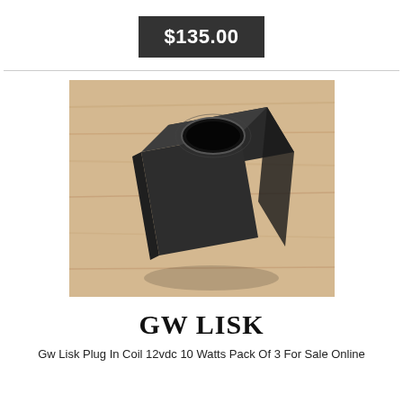$135.00
[Figure (photo): Photo of a black square solenoid coil (GW Lisk plug-in coil) with a circular hole on top, placed on a wooden surface.]
GW LISK
Gw Lisk Plug In Coil 12vdc 10 Watts Pack Of 3 For Sale Online